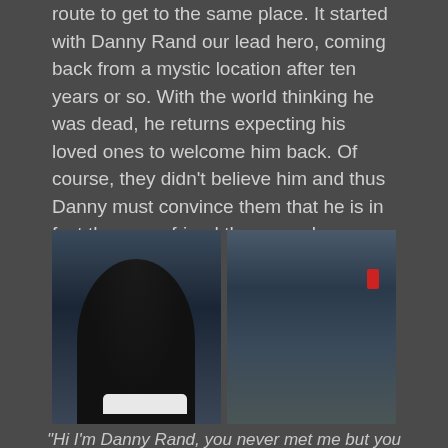route to get to the same place. It started with Danny Rand our lead hero, coming back from a mystic location after ten years or so. With the world thinking he was dead, he returns expecting his loved ones to welcome him back. Of course, they didn't believe him and thus Danny must convince them that he is in fact the same friend they once knew. Now right here, the pattern of this show's problem permeates.
[Figure (photo): A split image showing two people in conversation. On the left, a person seen from behind with short dark hair and a white collar. On the right, a curly-haired man (Danny Rand) looking forward, with a city building background.]
“Hi I’m Danny Rand, you never met me but you should